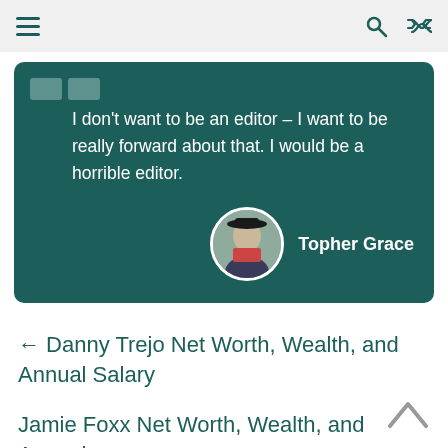Navigation bar with hamburger menu, search icon, and shuffle icon
I don't want to be an editor – I want to be really forward about that. I would be a horrible editor.
Topher Grace
← Danny Trejo Net Worth, Wealth, and Annual Salary
Jamie Foxx Net Worth, Wealth, and Annual